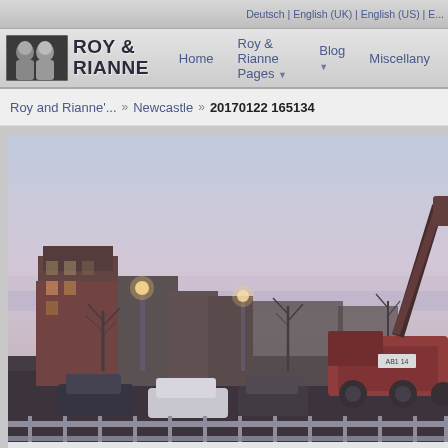Deutsch | English (UK) | English (US) | E...
ROY & RIANNE — Home  Roy & Rianne Pages  Blog  Miscellany
Roy and Rianne'... » Newcastle » 20170122 165134
[Figure (photo): Street scene in Newcastle at dusk. Buildings on the left, street lights illuminated, cars parked in foreground, a large crane or construction vehicle with arm raised on the right, metal railing in the very foreground, twilight sky with light purple/pink clouds.]